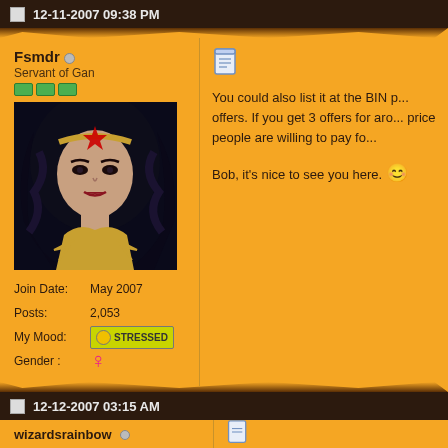12-11-2007 09:38 PM
Fsmdr (offline)
Servant of Gan
[Figure (illustration): Avatar image of Wonder Woman comic art - woman with dark hair and golden tiara]
Join Date: May 2007
Posts: 2,053
My Mood: STRESSED
Gender: female symbol
[Figure (other): Document/post icon]
You could also list it at the BIN p... offers. If you get 3 offers for aro... price people are willing to pay fo...
Bob, it's nice to see you here.
12-12-2007 03:15 AM
wizardsrainbow (offline)